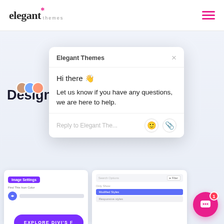[Figure (screenshot): Elegant Themes website header with logo on left and hamburger menu on right]
[Figure (screenshot): Website hero section showing purple 'E' letter, 'Design With D...' heading, explore button, and a chat popup from Elegant Themes saying 'Hi there' and 'Let us know if you have any questions, we are here to help.' with reply input. Bottom shows UI screenshots including Image Settings panel and search/filter panel. Pink chat FAB button with notification badge '1' in bottom right.]